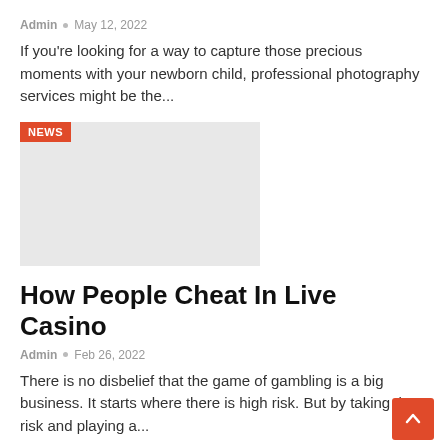Admin • May 12, 2022
If you're looking for a way to capture those precious moments with your newborn child, professional photography services might be the...
[Figure (photo): Grey placeholder image with NEWS badge in top-left corner]
How People Cheat In Live Casino
Admin • Feb 26, 2022
There is no disbelief that the game of gambling is a big business. It starts where there is high risk. But by taking that risk and playing a...
[Figure (photo): Dark photo with BUSINESS badge in top-left corner]